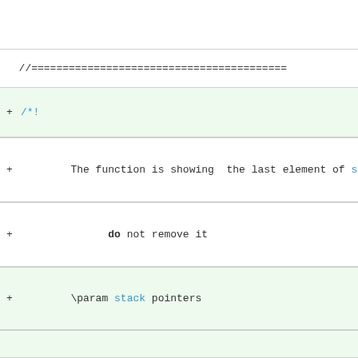//=========================================
+/*!
+        The function is showing  the last element of stack
+              do not remove it
+        \param stack pointers